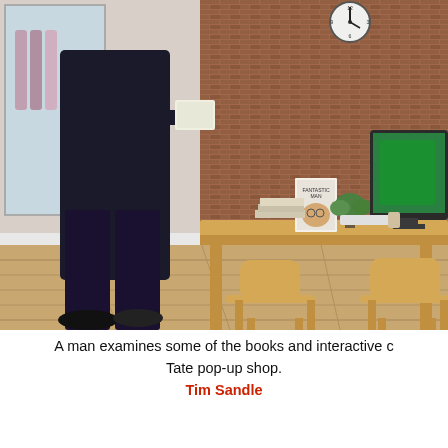[Figure (photo): A man in a dark jacket stands holding a book/magazine in a shop interior with a wooden desk, two light wood chairs, a computer monitor, a clock on the wall, and a brick-effect wall. A copy of 'Fantastic Man' magazine is visible on the desk along with stacked books and a small plant.]
A man examines some of the books and interactive c… Tate pop-up shop.
Tim Sandle